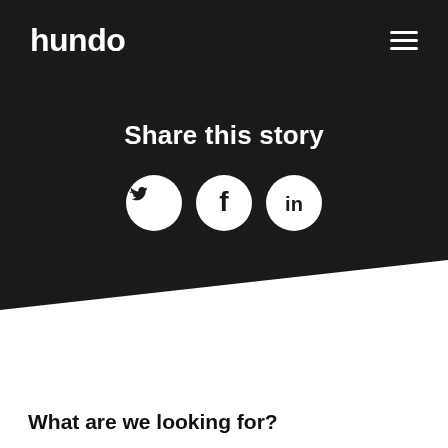hundo
Share this story
[Figure (infographic): Three circular social media share icons: Twitter bird, Facebook f, LinkedIn in]
What are we looking for?